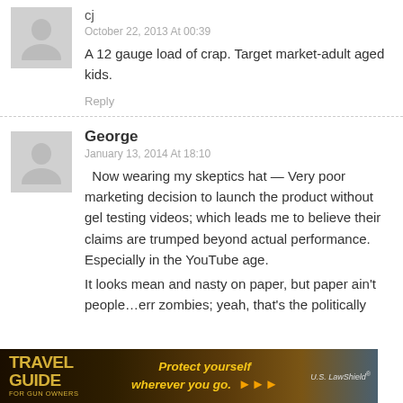cj
October 22, 2013 At 00:39
A 12 gauge load of crap. Target market-adult aged kids.
Reply
George
January 13, 2014 At 18:10
Now wearing my skeptics hat — Very poor marketing decision to launch the product without gel testing videos; which leads me to believe their claims are trumped beyond actual performance. Especially in the YouTube age.
It looks mean and nasty on paper, but paper ain't people…err zombies; yeah, that's the politically
[Figure (photo): Travel Guide for Gun Owners advertisement banner — dark background with gold text reading TRAVEL GUIDE and FOR GUN OWNERS, center text Protect yourself wherever you go. with yellow arrow icons, and U.S. LawShield logo]